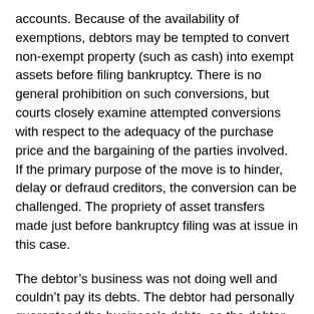accounts. Because of the availability of exemptions, debtors may be tempted to convert non-exempt property (such as cash) into exempt assets before filing bankruptcy. There is no general prohibition on such conversions, but courts closely examine attempted conversions with respect to the adequacy of the purchase price and the bargaining of the parties involved. If the primary purpose of the move is to hinder, delay or defraud creditors, the conversion can be challenged. The propriety of asset transfers made just before bankruptcy filing was at issue in this case.
The debtor’s business was not doing well and couldn’t pay its debts. The debtor had personally guaranteed the business’s debts, so the debtor was on the hook for the liabilities. In 2005, a creditor went after the debtor to recover on the $1.3 million personal guarantee. Before filing bankruptcy, the debtor used $8,000 of non-exempt funds to establish Roth IRAs for his wife and himself. Later in 2005, the debtor used another $11,500 of non-exempt funds to pay